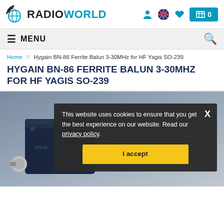RADIOWORLD — logo with navigation icons and cart
≡ MENU
Home // Hygain BN-86 Ferrite Balun 3-30MHz for HF Yagis SO-239
HYGAIN BN-86 FERRITE BALUN 3-30MHZ FOR HF YAGIS SO-239
[Figure (photo): Photo of the Hygain BN-86 ferrite balun device, dark navy blue rectangular unit with SO-239 connector, on gray background. Cookie consent banner overlaid on image.]
This website uses cookies to ensure that you get the best experience on our website. Read our privacy policy.
I accept